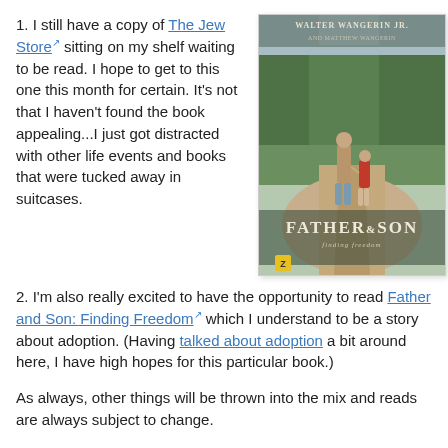1. I still have a copy of The Jew Store sitting on my shelf waiting to be read. I hope to get to this one this month for certain. It's not that I haven't found the book appealing...I just got distracted with other life events and books that were tucked away in suitcases.
[Figure (illustration): Book cover of 'Father & Son: Finding Freedom' by Walter Wangerin Jr. and Matthew Wangerin. Shows two figures (adult and child) walking hand-in-hand on a dirt path surrounded by trees, viewed from behind. The adult wears a tan jacket and the child wears a red top. Title text 'FATHER & SON' appears at bottom of cover.]
2. I'm also really excited to have the opportunity to read Father and Son: Finding Freedom which I understand to be a story about adoption. (Having talked about adoption a bit around here, I have high hopes for this particular book.)
As always, other things will be thrown into the mix and reads are always subject to change.